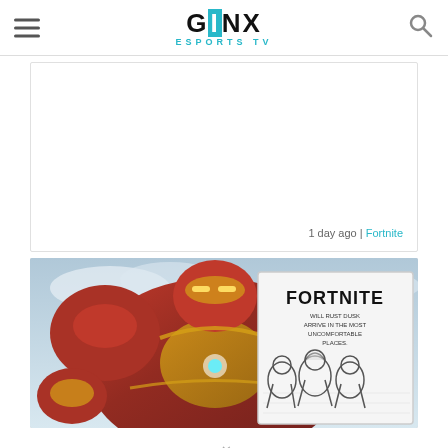GINX ESPORTS TV — navigation header with hamburger menu and search icon
[Figure (other): Blank white card with timestamp '1 day ago | Fortnite']
1 day ago | Fortnite
[Figure (photo): Iron Man Hulkbuster armor (red and gold) on the left, overlaid with a Fortnite comic book cover on the right side showing sketched Marvel heroes]